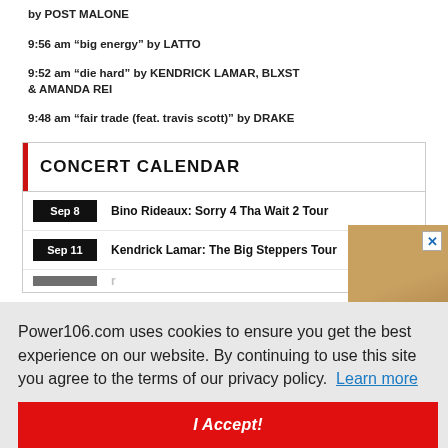by POST MALONE
9:56 am “big energy” by LATTO
9:52 am “die hard” by KENDRICK LAMAR, BLXST & AMANDA REI
9:48 am “fair trade (feat. travis scott)” by DRAKE
CONCERT CALENDAR
Sep 8 — Bino Rideaux: Sorry 4 Tha Wait 2 Tour
Sep 11 — Kendrick Lamar: The Big Steppers Tour
Power106.com uses cookies to ensure you get the best experience on our website. By continuing to use this site you agree to the terms of our privacy policy. Learn more
I Accept!